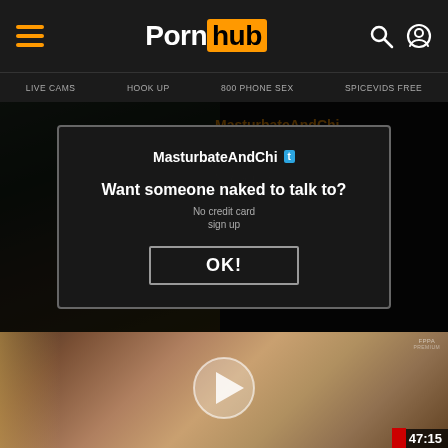Pornhub
LIVE CAMS   HOOK UP   800 PHONE SEX   SPICEVIDS FREE
[Figure (screenshot): MasturbateAndChi... channel header area partially visible behind popup overlay]
Want someone naked to talk to?
No credit card
No credit card
sign up
OK!
[Figure (photo): Video thumbnail showing two people on a bed, with a play button overlay. Duration badge shows 47:15 in bottom right corner.]